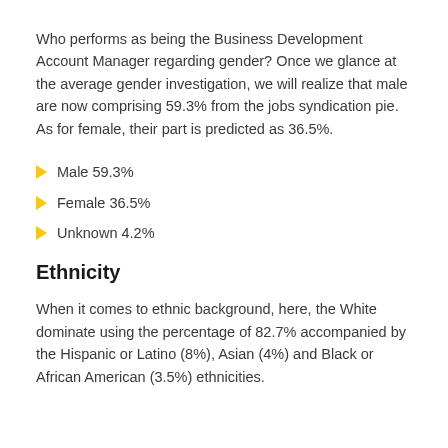Who performs as being the Business Development Account Manager regarding gender? Once we glance at the average gender investigation, we will realize that male are now comprising 59.3% from the jobs syndication pie. As for female, their part is predicted as 36.5%.
Male 59.3%
Female 36.5%
Unknown 4.2%
Ethnicity
When it comes to ethnic background, here, the White dominate using the percentage of 82.7% accompanied by the Hispanic or Latino (8%), Asian (4%) and Black or African American (3.5%) ethnicities.